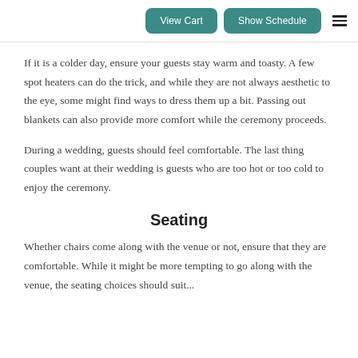View Cart | Show Schedule
If it is a colder day, ensure your guests stay warm and toasty. A few spot heaters can do the trick, and while they are not always aesthetic to the eye, some might find ways to dress them up a bit. Passing out blankets can also provide more comfort while the ceremony proceeds.
During a wedding, guests should feel comfortable. The last thing couples want at their wedding is guests who are too hot or too cold to enjoy the ceremony.
Seating
Whether chairs come along with the venue or not, ensure that they are comfortable. While it might be more tempting to go along with the venue, the seating choices should suit...